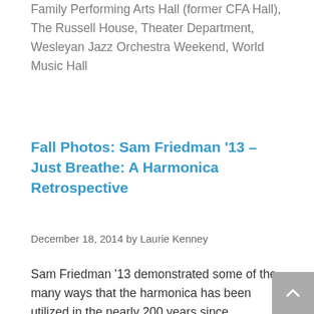'92 Theater, Performing Arts Series, Ring Family Performing Arts Hall (former CFA Hall), The Russell House, Theater Department, Wesleyan Jazz Orchestra Weekend, World Music Hall
Fall Photos: Sam Friedman '13 – Just Breathe: A Harmonica Retrospective
December 18, 2014 by Laurie Kenney
Sam Friedman '13 demonstrated some of the many ways that the harmonica has been utilized in the nearly 200 years since